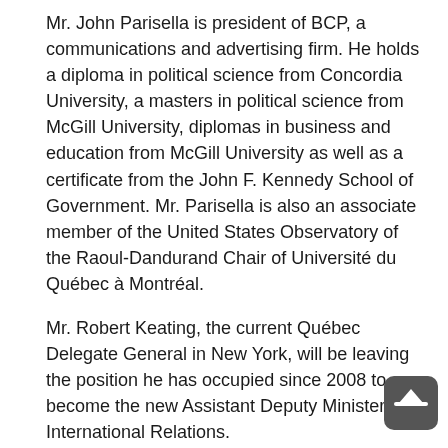Mr. John Parisella is president of BCP, a communications and advertising firm. He holds a diploma in political science from Concordia University, a masters in political science from McGill University, diplomas in business and education from McGill University as well as a certificate from the John F. Kennedy School of Government. Mr. Parisella is also an associate member of the United States Observatory of the Raoul-Dandurand Chair of Université du Québec à Montréal.
Mr. Robert Keating, the current Québec Delegate General in New York, will be leaving the position he has occupied since 2008 to become the new Assistant Deputy Minister of International Relations.
“I wish to thank Mr. Keating for his hard work. His years of experience in international relations and Québec's network of offices abroad will stand him in excellent stead in the performance of his new